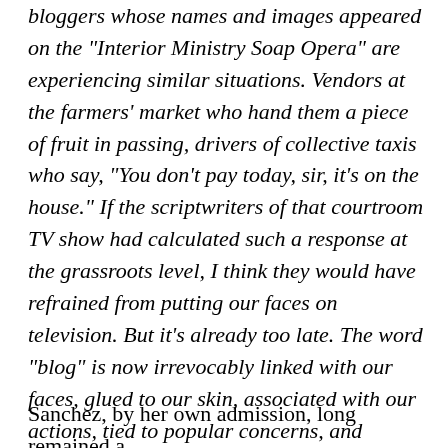bloggers whose names and images appeared on the "Interior Ministry Soap Opera" are experiencing similar situations. Vendors at the farmers' market who hand them a piece of fruit in passing, drivers of collective taxis who say, "You don't pay today, sir, it's on the house." If the scriptwriters of that courtroom TV show had calculated such a response at the grassroots level, I think they would have refrained from putting our faces on television. But it's already too late. The word "blog" is now irrevocably linked with our faces, glued to our skin, associated with our actions, tied to popular concerns, and synonymous with that prohibited zone of reality that is becoming more and more magnetic, more and more admired.
Sanchez, by her own admission, long remained a